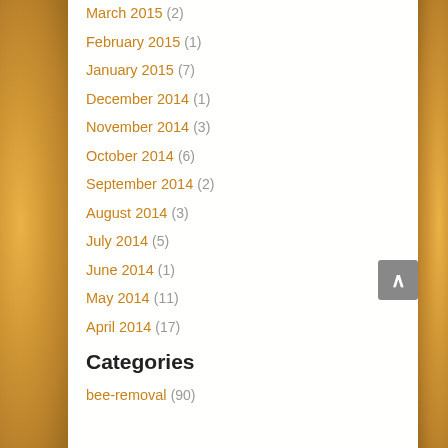March 2015 (2)
February 2015 (1)
January 2015 (7)
December 2014 (1)
November 2014 (3)
October 2014 (6)
September 2014 (2)
August 2014 (3)
July 2014 (5)
June 2014 (1)
May 2014 (11)
April 2014 (17)
Categories
bee-removal (90)